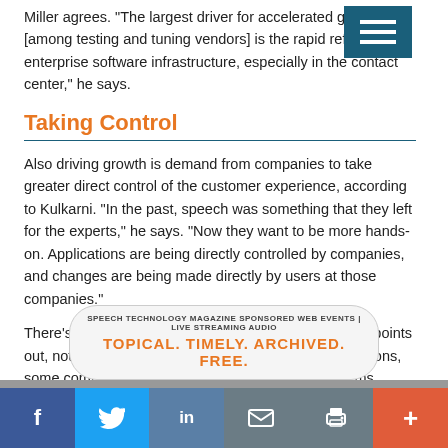Miller agrees. "The largest driver for accelerated growth [among testing and tuning vendors] is the rapid refresh of enterprise software infrastructure, especially in the contact center," he says.
Taking Control
Also driving growth is demand from companies to take greater direct control of the customer experience, according to Kulkarni. "In the past, speech was something that they left for the experts," he says. "Now they want to be more hands-on. Applications are being directly controlled by companies, and changes are being made directly by users at those companies."
There's also a greater sense of urgency now, Kulkarni points out, noting that with new product and service introductions, some companies are making changes to their systems
[Figure (infographic): Advertisement banner: SPEECH TECHNOLOGY MAGAZINE SPONSORED WEB EVENTS | LIVE STREAMING AUDIO — TOPICAL. TIMELY. ARCHIVED. FREE.]
f  Twitter  in  Email  Print  +